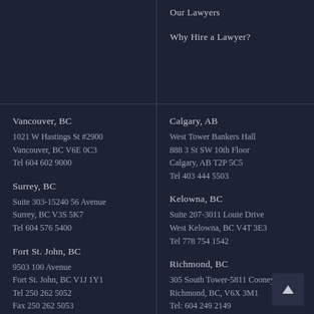Our Lawyers
Why Hire a Lawyer?
Vancouver, BC
1021 W Hastings St #2900
Vancouver, BC V6E 0C3
Tel 604 602 9000
Surrey, BC
Suite 303-15240 56 Avenue
Surrey, BC V3S 5K7
Tel 604 576 5400
Fort St. John, BC
9503 100 Avenue
Fort St. John, BC V1J 1Y1
Tel 250 262 5052
Fax 250 262 5053
Calgary, AB
West Tower Bankers Hall
888 3 St SW 10th Floor
Calgary, AB T2P 5C5
Tel 403 444 5503
Kelowna, BC
Suite 207-3011 Louie Drive
West Kelowna, BC V4T 3E3
Tel 778 754 1542
Richmond, BC
305 South Tower-5811 Cooney Road
Richmond, BC, V6X 3M1
Tel: 604 249 2149